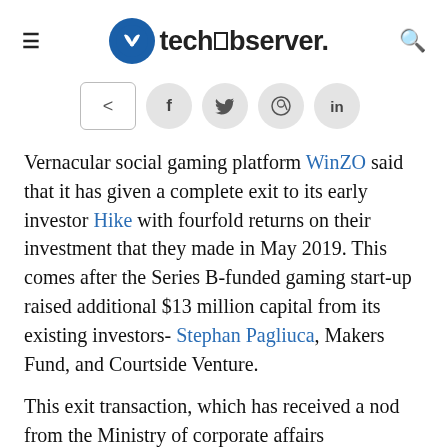techobserver.
[Figure (infographic): Social share buttons: share icon in a bordered box, then circular icons for Facebook, Twitter, WhatsApp, and LinkedIn on a light grey background]
Vernacular social gaming platform WinZO said that it has given a complete exit to its early investor Hike with fourfold returns on their investment that they made in May 2019. This comes after the Series B-funded gaming start-up raised additional $13 million capital from its existing investors- Stephan Pagliuca, Makers Fund, and Courtside Venture.
This exit transaction, which has received a nod from the Ministry of corporate affairs